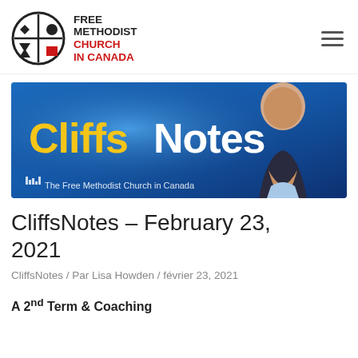[Figure (logo): Free Methodist Church in Canada logo: circular emblem with cross and geometric shapes, plus text 'FREE METHODIST CHURCH IN CANADA']
[Figure (photo): CliffsNotes banner image: blue gradient background with 'CliffsNotes' text in yellow and white, bald smiling man on the right, and 'The Free Methodist Church in Canada' text with church icon at bottom left]
CliffsNotes – February 23, 2021
CliffsNotes / Par Lisa Howden / février 23, 2021
A 2nd Term & Coaching